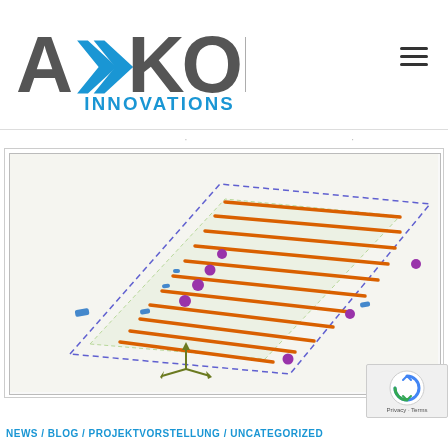[Figure (logo): AXXON INNOVATIONS company logo with blue and grey lettering]
[Figure (engineering-diagram): 3D isometric engineering diagram showing parallel orange rails/tubes arranged in a grid pattern on a flat surface with dashed blue boundary, purple connector nodes, blue small elements, and a coordinate axis indicator in olive/green at the bottom]
NEWS / BLOG / PROJEKTVORSTELLUNG / UNCATEGORIZED